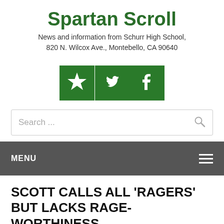Spartan Scroll
News and information from Schurr High School, 820 N. Wilcox Ave., Montebello, CA 90640
[Figure (infographic): Three green social media icon buttons: star/favorite, Twitter bird, Facebook f]
Search ...
MENU
SCOTT CALLS ALL ‘RAGERS’ BUT LACKS RAGE-WORTHINESS